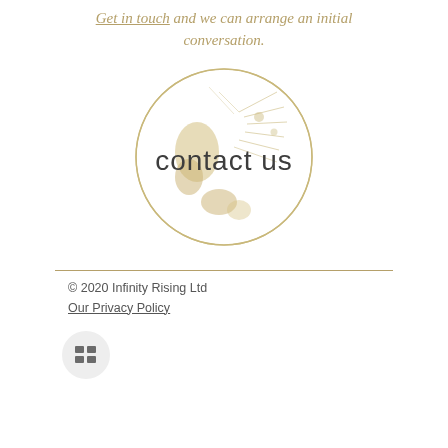Get in touch and we can arrange an initial conversation.
[Figure (illustration): A circular globe illustration with floral/botanical patterns in gold/tan tones, with 'contact us' text overlaid in dark gray]
© 2020 Infinity Rising Ltd
Our Privacy Policy